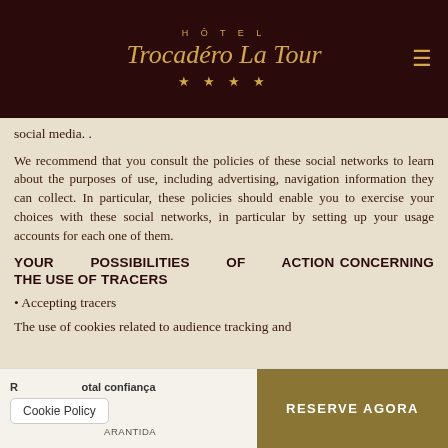HÔTEL Trocadéro La Tour ★★★★
social media. .
We recommend that you consult the policies of these social networks to learn about the purposes of use, including advertising, navigation information they can collect. In particular, these policies should enable you to exercise your choices with these social networks, in particular by setting up your usage accounts for each one of them.
YOUR POSSIBILITIES OF ACTION CONCERNING THE USE OF TRACERS
• Accepting tracers
The use of cookies related to audience tracking and
Reserve com total confiança MELHOR PREÇO GARANTIDA  Cookie Policy  RESERVE AGORA